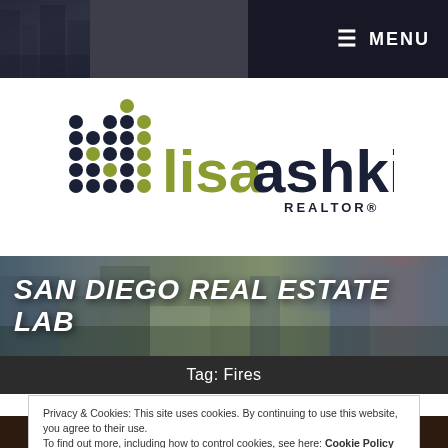[Figure (screenshot): Navigation bar with hamburger menu and MENU text on dark background, with partial city photo on left]
[Figure (logo): Lisa Ashkins Realtor logo with dot-grid icon and text in dark navy and olive green colors]
[Figure (photo): Aerial photo of San Diego real estate / urban development area with large text overlay SAN DIEGO REAL ESTATE LAB]
Tag: Fires
Privacy & Cookies: This site uses cookies. By continuing to use this website, you agree to their use.
To find out more, including how to control cookies, see here: Cookie Policy
Close and accept
HOMEOWNERS INSURANCE